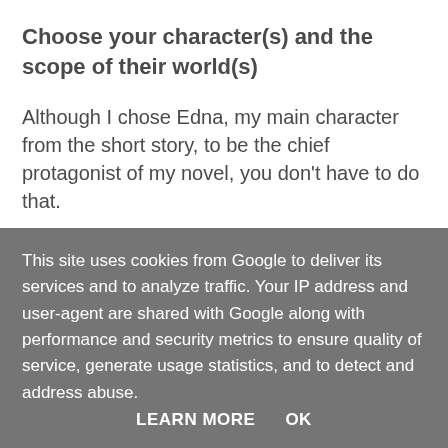Choose your character(s) and the scope of their world(s)
Although I chose Edna, my main character from the short story, to be the chief protagonist of my novel, you don't have to do that.
Generally, there are only two or three characters that...
This site uses cookies from Google to deliver its services and to analyze traffic. Your IP address and user-agent are shared with Google along with performance and security metrics to ensure quality of service, generate usage statistics, and to detect and address abuse.
LEARN MORE   OK